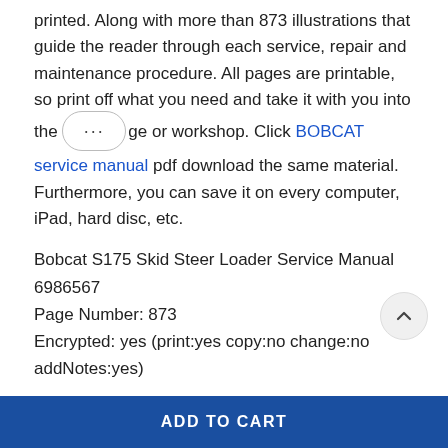printed. Along with more than 873 illustrations that guide the reader through each service, repair and maintenance procedure. All pages are printable, so print off what you need and take it with you into the … ge or workshop. Click BOBCAT service manual pdf download the same material. Furthermore, you can save it on every computer, iPad, hard disc, etc.
Bobcat S175 Skid Steer Loader Service Manual 6986567
Page Number: 873
Encrypted: yes (print:yes copy:no change:no addNotes:yes)
ADD TO CART